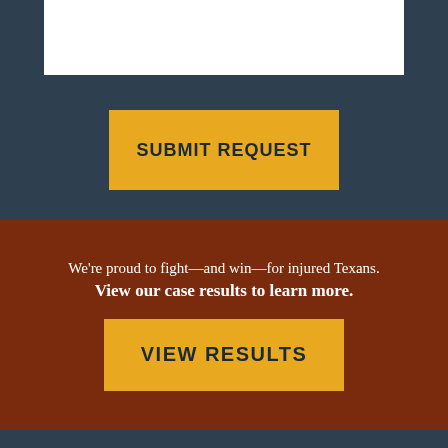[Figure (screenshot): White input/form box at top of dark blue-gray section]
SUBMIT REQUEST
We're proud to fight—and win—for injured Texans. View our case results to learn more.
VIEW RESULTS